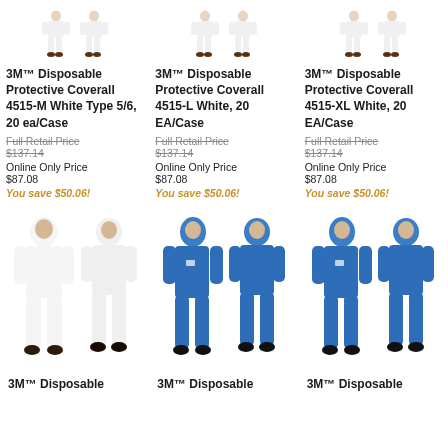[Figure (photo): White disposable coverall product images - two figures, top row, column 1]
3M™ Disposable Protective Coverall 4515-M White Type 5/6, 20 ea/Case
Full Retail Price
$137.14
Online Only Price
$87.08
You save $50.06!
[Figure (photo): White disposable coverall product images - two figures, top row, column 2]
3M™ Disposable Protective Coverall 4515-L White, 20 EA/Case
Full Retail Price
$137.14
Online Only Price
$87.08
You save $50.06!
[Figure (photo): White disposable coverall product images - two figures, top row, column 3]
3M™ Disposable Protective Coverall 4515-XL White, 20 EA/Case
Full Retail Price
$137.14
Online Only Price
$87.08
You save $50.06!
[Figure (photo): White hooded coverall full-body figures, bottom section column 1]
3M™ Disposable
[Figure (photo): Blue hooded coverall full-body figures, bottom section column 2]
3M™ Disposable
[Figure (photo): Blue hooded coverall full-body figures, bottom section column 3]
3M™ Disposable